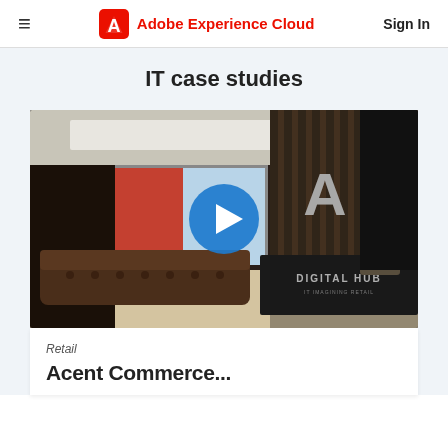Adobe Experience Cloud | Sign In
IT case studies
[Figure (photo): Interior photo of a modern office or digital hub space with leather sofa, large windows, exposed brick wall, wooden slat wall with illuminated Adobe 'A' logo, and a black reception desk labeled 'DIGITAL HUB'. A blue play button circle is overlaid in the center.]
Retail
Acent Commerce...